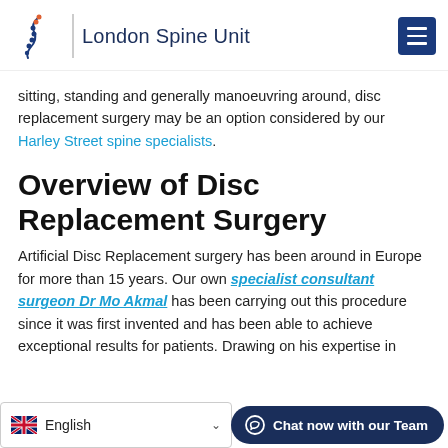London Spine Unit
sitting, standing and generally manoeuvring around, disc replacement surgery may be an option considered by our Harley Street spine specialists.
Overview of Disc Replacement Surgery
Artificial Disc Replacement surgery has been around in Europe for more than 15 years. Our own specialist consultant surgeon Dr Mo Akmal has been carrying out this procedure since it was first invented and has been able to achieve exceptional results for patients. Drawing on his expertise in ... seen dramatic results in pain